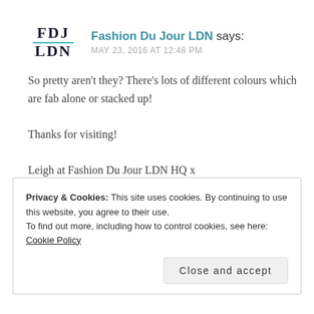[Figure (logo): FDJ LDN logo with teal underline]
Fashion Du Jour LDN says:
MAY 23, 2016 AT 12:48 PM
So pretty aren't they? There's lots of different colours which are fab alone or stacked up!

Thanks for visiting!

Leigh at Fashion Du Jour LDN HQ x
★ Like
Privacy & Cookies: This site uses cookies. By continuing to use this website, you agree to their use.
To find out more, including how to control cookies, see here: Cookie Policy

Close and accept